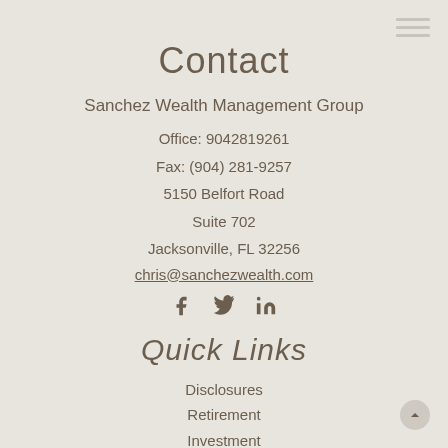Contact
Sanchez Wealth Management Group
Office: 9042819261
Fax: (904) 281-9257
5150 Belfort Road
Suite 702
Jacksonville, FL 32256
chris@sanchezwealth.com
[Figure (infographic): Social media icons: Facebook, Twitter, LinkedIn]
Quick Links
Disclosures
Retirement
Investment
Estate